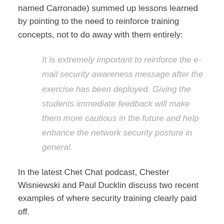named Carronade) summed up lessons learned by pointing to the need to reinforce training concepts, not to do away with them entirely:
It is extremely important to reinforce the e-mail security awareness message after the exercise has been deployed. Giving the students immediate feedback will make them more cautious in the future and help enhance the network security posture in general.
In the latest Chet Chat podcast, Chester Wisniewski and Paul Ducklin discuss two recent examples of where security training clearly paid off.
The first example was the